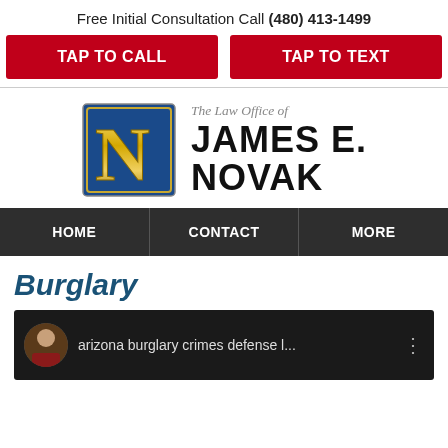Free Initial Consultation Call (480) 413-1499
TAP TO CALL
TAP TO TEXT
[Figure (logo): The Law Office of James E. Novak logo with gold N on blue background]
HOME | CONTACT | MORE
Burglary
[Figure (screenshot): Video thumbnail showing a man in a suit with text: arizona burglary crimes defense l...]